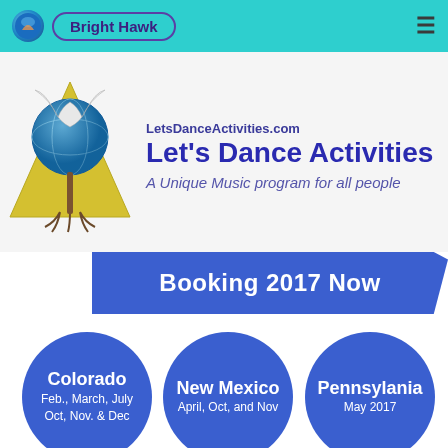Bright Hawk
[Figure (logo): Let's Dance Activities logo: eagle/bird figure with globe and yellow triangle, with roots at the bottom]
LetsDanceActivities.com
Let's Dance Activities
A Unique Music program for all people
Booking 2017 Now
Colorado
Feb., March, July
Oct, Nov. & Dec
New Mexico
April, Oct, and Nov
Pennsylania
May 2017
Massachusetts
June 2017
New York
June & July
FL, LA, TX
SC, MD, DE
-April-